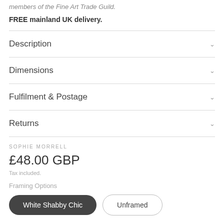members of the Fine Art Trade Guild.
FREE mainland UK delivery.
Description
Dimensions
Fulfilment & Postage
Returns
SOPHIE MORRELL
£48.00 GBP
Tax included.
Framing Options
White Shabby Chic
Unframed